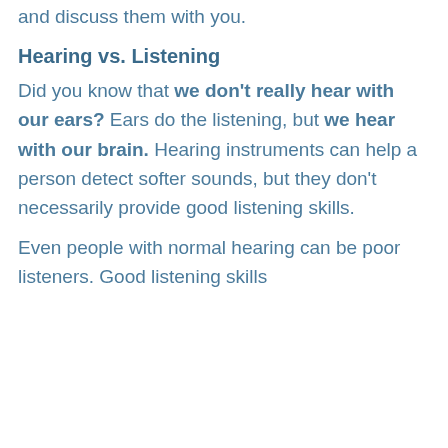and discuss them with you.
Hearing vs. Listening
Did you know that we don't really hear with our ears? Ears do the listening, but we hear with our brain. Hearing instruments can help a person detect softer sounds, but they don't necessarily provide good listening skills.
Even people with normal hearing can be poor listeners. Good listening skills